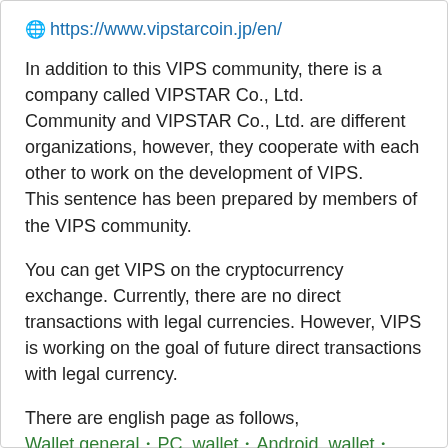🌐 https://www.vipstarcoin.jp/en/
In addition to this VIPS community, there is a company called VIPSTAR Co., Ltd.
Community and VIPSTAR Co., Ltd. are different organizations, however, they cooperate with each other to work on the development of VIPS.
This sentence has been prepared by members of the VIPS community.
You can get VIPS on the cryptocurrency exchange. Currently, there are no direct transactions with legal currencies. However, VIPS is working on the goal of future direct transactions with legal currency.
There are english page as follows,
Wallet general・PC_wallet・Android_wallet・web_wallet (for mobile iOS), PoS mining・PoW mining.
Please read each page.